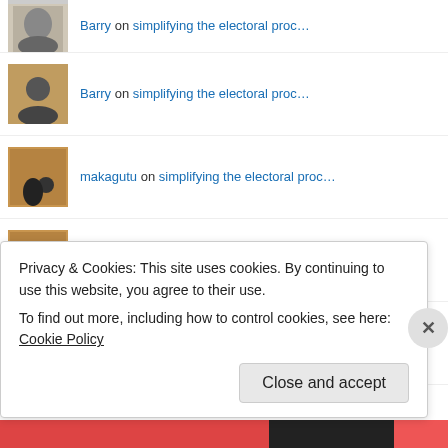Barry on simplifying the electoral proc…
makagutu on simplifying the electoral proc…
makagutu on My politics align with those o…
makagutu on simplifying the electoral proc…
Advertisements
Privacy & Cookies: This site uses cookies. By continuing to use this website, you agree to their use.
To find out more, including how to control cookies, see here: Cookie Policy
Close and accept